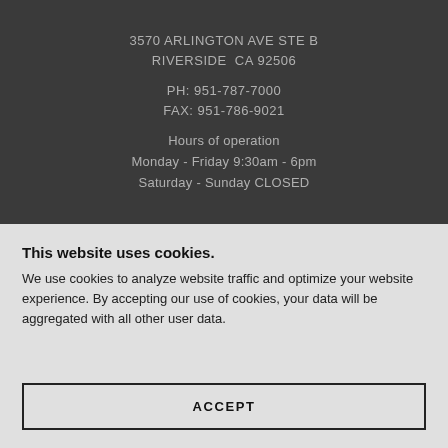3570 ARLINGTON AVE STE B
RIVERSIDE  CA 92506
PH: 951-787-7000
FAX: 951-786-9021
Hours of operation
Monday - Friday 9:30am - 6pm
Saturday - Sunday CLOSED
This website uses cookies.
We use cookies to analyze website traffic and optimize your website experience. By accepting our use of cookies, your data will be aggregated with all other user data.
ACCEPT